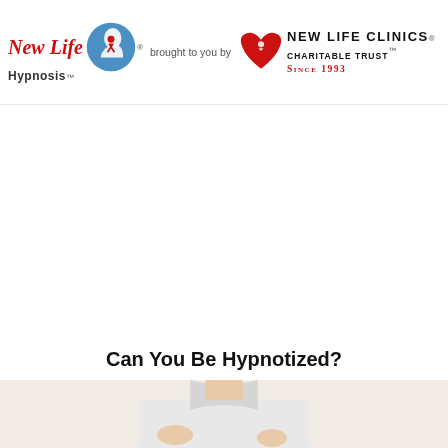[Figure (logo): New Life Hypnosis logo with stylized head icon and red italic text, alongside New Life Clinics Charitable Trust logo with red heart icon. Text reads: 'New Life Hypnosis™ brought to you by New Life Clinics® Charitable Trust™ Since 1993']
Can You Be Hypnotized?
[Figure (photo): Bottom portion of a photo showing a person in a white shirt, cropped at the top of the page view]